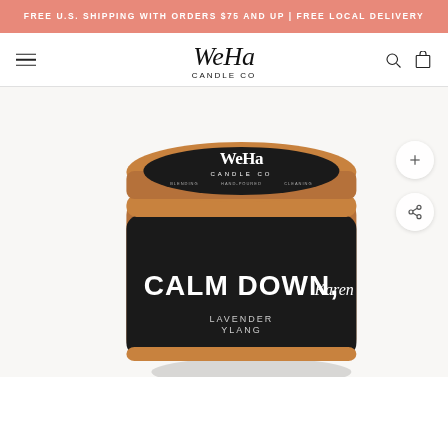FREE U.S. SHIPPING WITH ORDERS $75 AND UP | FREE LOCAL DELIVERY
[Figure (logo): WeHa Candle Co logo — stylized serif text 'WeHa' with 'CANDLE CO' below in spaced caps]
[Figure (photo): Product photo of a gold tin candle labeled 'CALM DOWN, Karen' with lavender and ylang scent, WeHa Candle Co branding on lid]